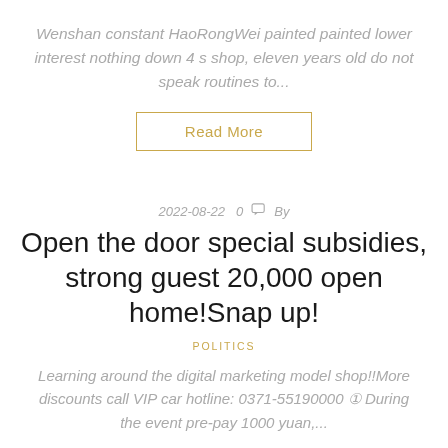Wenshan constant HaoRongWei painted painted lower interest nothing down 4 s shop, eleven years old do not speak routines to...
Read More
2022-08-22  0  By
Open the door special subsidies, strong guest 20,000 open home!Snap up!
POLITICS
Learning around the digital marketing model shop!!More discounts call VIP car hotline: 0371-55190000 ① During the event pre-pay 1000 yuan,...